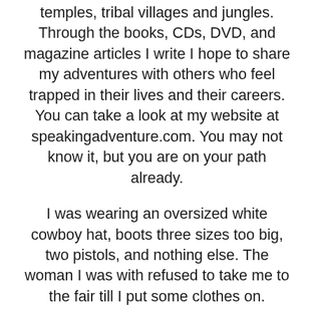temples, tribal villages and jungles. Through the books, CDs, DVD, and magazine articles I write I hope to share my adventures with others who feel trapped in their lives and their careers. You can take a look at my website at speakingadventure.com. You may not know it, but you are on your path already.
I was wearing an oversized white cowboy hat, boots three sizes too big, two pistols, and nothing else. The woman I was with refused to take me to the fair till I put some clothes on.
I stomped my foot and shouted, “But grandma, I don’t want to put any clothes on.”
It was the feast day of Santo Antonio, my patron saint, which for me was like a second birthday that I looked forward to all year. My grandma took me by the hand, and